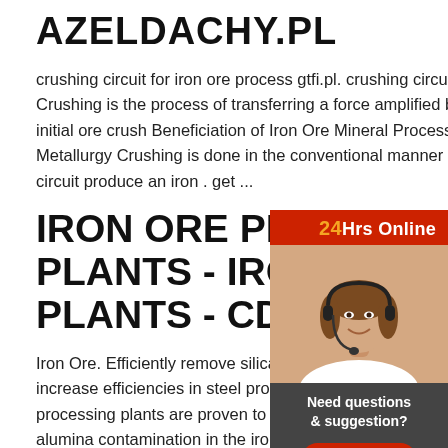AZELDACHY.PL
crushing circuit for iron ore process gtfi.pl. crushing circuit for iron ore process. Crushing is the process of transferring a force amplified by mechanical most initial ore crush Beneficiation of Iron Ore Mineral Processing Extractive Metallurgy Crushing is done in the conventional manner in 2 or 3 all in closed circuit produce an iron . get ...
IRON ORE PROCESSING PLANTS - IRON ORE WASHING PLANTS - CDE
[Figure (photo): Woman with headset smiling, with '24Hrs Online' label and customer service widget on right side]
Iron Ore. Efficiently remove silica and alumina contamination to increase efficiencies in steel production. Our iron ore processing plants are proven to successfully deal with silica and alumina contamination in the iron ore, resulting in an increase in the Fe value of the iron ore thereby increasing the efficiency of the steel production process.
Need questions & suggestion?
Chat Now
Enquiry
limingjilmofen